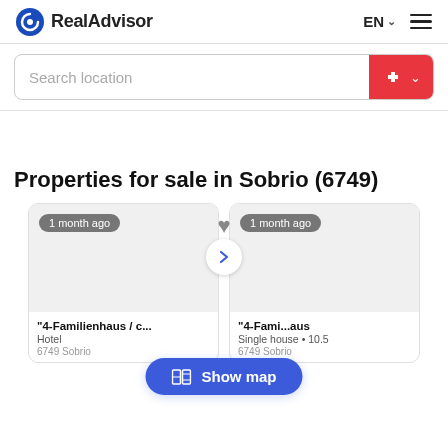RealAdvisor  EN  ☰
Search location
Properties for sale in Sobrio (6749)
[Figure (screenshot): Property listing card showing '4-Familienhaus / c...' with '1 month ago' badge and heart icon, image area placeholder]
"4-Familienhaus / c...
Hotel
6749 Sobrio
[Figure (screenshot): Property listing card showing '4-Fami...aus' with '1 month ago' badge]
"4-Fami...aus
Single house • 10.5
6749 Sobrio
Show map